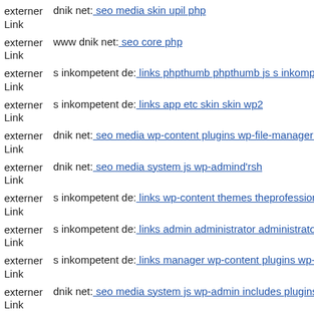externer Link dnik net: seo media skin upil php
externer Link www dnik net: seo core php
externer Link s inkompetent de: links phpthumb phpthumb js s inkompete
externer Link s inkompetent de: links app etc skin skin wp2
externer Link dnik net: seo media wp-content plugins wp-file-manager re
externer Link dnik net: seo media system js wp-admind'rsh
externer Link s inkompetent de: links wp-content themes theprofessional
externer Link s inkompetent de: links admin administrator administrator v
externer Link s inkompetent de: links manager wp-content plugins wp-file
externer Link dnik net: seo media system js wp-admin includes plugins co
externer Link s inkompetent de: links phpthumb thumb pagat php